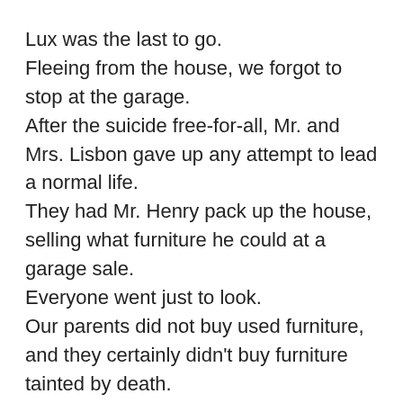Lux was the last to go. Fleeing from the house, we forgot to stop at the garage. After the suicide free-for-all, Mr. and Mrs. Lisbon gave up any attempt to lead a normal life. They had Mr. Henry pack up the house, selling what furniture he could at a garage sale. Everyone went just to look. Our parents did not buy used furniture, and they certainly didn't buy furniture tainted by death. We of course took the family photos that were put out with the trash.